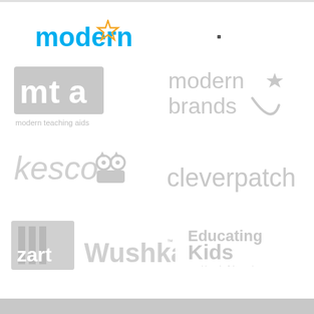[Figure (logo): Modern star logo in blue with star icon]
[Figure (logo): MTA - modern teaching aids logo in grey]
[Figure (logo): Modern Brands logo with star in grey]
[Figure (logo): Kesco logo with owl icon in grey]
[Figure (logo): Cleverpatch logo in grey]
[Figure (logo): Zart logo in grey]
[Figure (logo): Wushka logo in grey]
[Figure (logo): Educating Kids - Inspiring Playful Learning logo in grey]